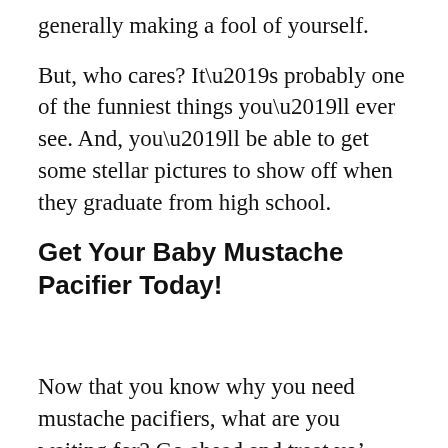generally making a fool of yourself.
But, who cares? It’s probably one of the funniest things you’ll ever see. And, you’ll be able to get some stellar pictures to show off when they graduate from high school.
Get Your Baby Mustache Pacifier Today!
Now that you know why you need mustache pacifiers, what are you waiting for? Go ahead and treat yo’ self–your baby will thank you.
Even if you don’t have a baby yourself, there’s